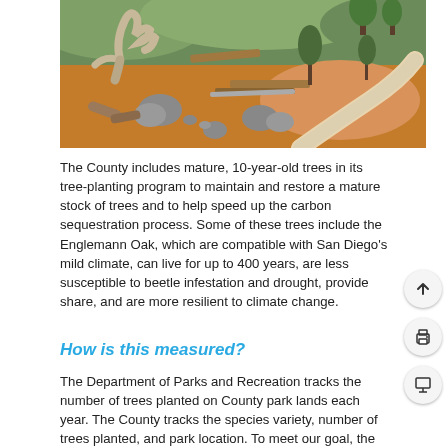[Figure (photo): Outdoor park landscape with a wooden bench seating area, large sculptural driftwood piece, stone boulders, a winding path, and trees on rolling green hills in the background.]
The County includes mature, 10-year-old trees in its tree-planting program to maintain and restore a mature stock of trees and to help speed up the carbon sequestration process. Some of these trees include the Englemann Oak, which are compatible with San Diego's mild climate, can live for up to 400 years, are less susceptible to beetle infestation and drought, provide share, and are more resilient to climate change.
How is this measured?
The Department of Parks and Recreation tracks the number of trees planted on County park lands each year. The County tracks the species variety, number of trees planted, and park location. To meet our goal, the